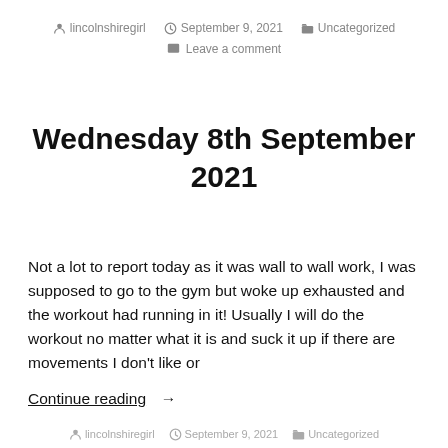lincolnshiregirl   September 9, 2021   Uncategorized   Leave a comment
Wednesday 8th September 2021
Not a lot to report today as it was wall to wall work, I was supposed to go to the gym but woke up exhausted and the workout had running in it! Usually I will do the workout no matter what it is and suck it up if there are movements I don't like or
Continue reading  →
lincolnshiregirl   September 9, 2021   Uncategorized